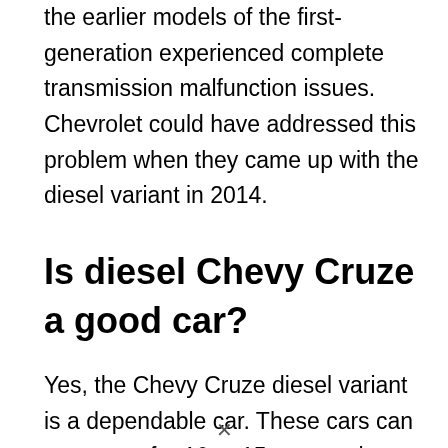the earlier models of the first-generation experienced complete transmission malfunction issues. Chevrolet could have addressed this problem when they came up with the diesel variant in 2014.
Is diesel Chevy Cruze a good car?
Yes, the Chevy Cruze diesel variant is a dependable car. These cars can serve you for 10 to 15 years, where the